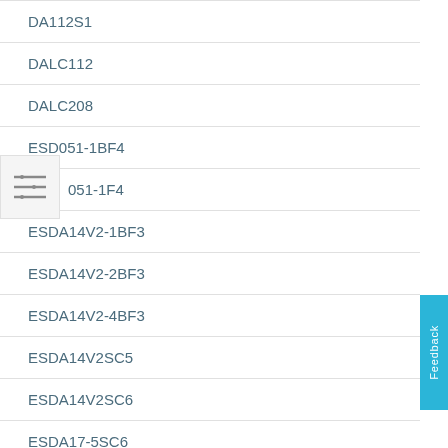DA112S1
DALC112
DALC208
ESD051-1BF4
051-1F4
ESDA14V2-1BF3
ESDA14V2-2BF3
ESDA14V2-4BF3
ESDA14V2SC5
ESDA14V2SC6
ESDA17-5SC6
ESDA19SC6